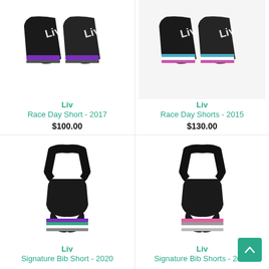[Figure (photo): Liv Race Day Short - 2017 cycling shorts, black with purple and grey stripes]
Liv
Race Day Short - 2017
$100.00
[Figure (photo): Liv Race Day Shorts - 2015 cycling shorts, black with blue, white and pink stripes]
Liv
Race Day Shorts - 2015
$130.00
[Figure (photo): Liv Signature Bib Short - 2020 black bib shorts with purple, green and white stripes]
Liv
Signature Bib Short - 2020
[Figure (photo): Liv Signature Bib Shorts - 2020 black bib shorts with pink and grey stripes]
Liv
Signature Bib Shorts - 2020